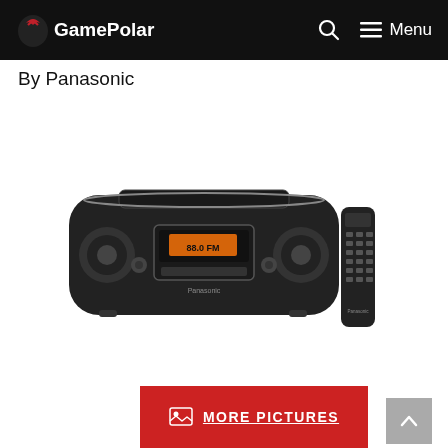GamePolar  Menu
By Panasonic
[Figure (photo): Panasonic boombox CD radio cassette player in black with a remote control, shown from a slight angle above.]
MORE PICTURES